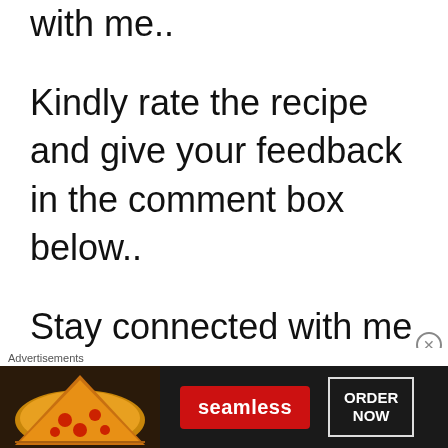with me..
Kindly rate the recipe and give your feedback in the comment box below..
Stay connected with me on following social medias
[Figure (other): Advertisement banner for Seamless food delivery service showing pizza image, red Seamless logo button, and ORDER NOW button on dark background]
Advertisements